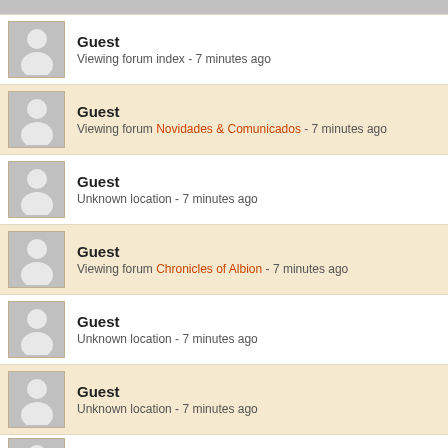Guest - Viewing forum index - 7 minutes ago
Guest - Viewing forum Novidades & Comunicados - 7 minutes ago
Guest - Unknown location - 7 minutes ago
Guest - Viewing forum Chronicles of Albion - 7 minutes ago
Guest - Unknown location - 7 minutes ago
Guest - Unknown location - 7 minutes ago
Guest - Reading thread Time for a dungeon to disappear? - 7 minutes ago